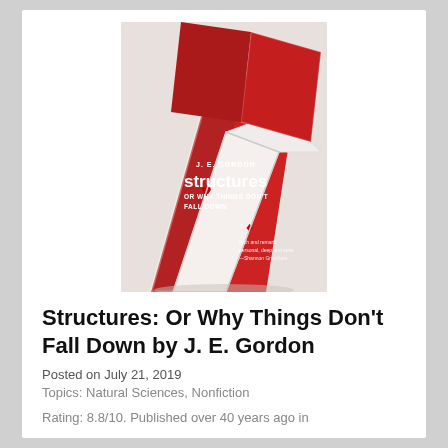[Figure (photo): Book cover of 'Structures: Or Why Things Don't Fall Down' by J.E. Gordon, showing a house of playing cards on a light background with red card backs visible.]
Structures: Or Why Things Don't Fall Down by J. E. Gordon
Posted on July 21, 2019
Topics: Natural Sciences, Nonfiction
Rating: 8.8/10. Published over 40 years ago in